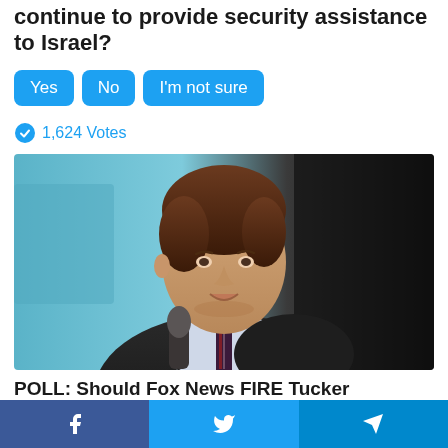continue to provide security assistance to Israel?
Yes
No
I'm not sure
1,624 Votes
[Figure (photo): A man in a dark suit holding a microphone, speaking at an event. Background is teal/blue on the left and dark on the right.]
POLL: Should Fox News FIRE Tucker Carlson?
[Figure (infographic): Bottom share bar with Facebook, Twitter, and Telegram buttons]